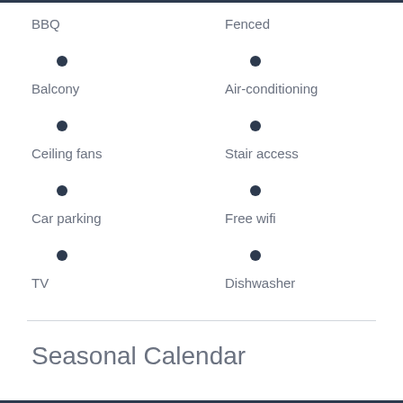BBQ
Fenced
Balcony
Air-conditioning
Ceiling fans
Stair access
Car parking
Free wifi
TV
Dishwasher
Seasonal Calendar